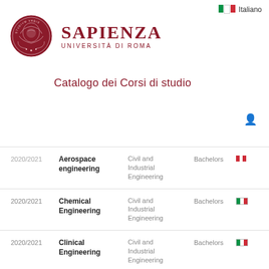Italiano
[Figure (logo): Sapienza Università di Roma logo with crest and text]
Catalogo dei Corsi di studio
| Year | Course | Department | Level | Language |
| --- | --- | --- | --- | --- |
| 2020/2021 | Aerospace engineering | Civil and Industrial Engineering | Bachelors | IT |
| 2020/2021 | Chemical Engineering | Civil and Industrial Engineering | Bachelors | IT |
| 2020/2021 | Clinical Engineering | Civil and Industrial Engineering | Bachelors | IT |